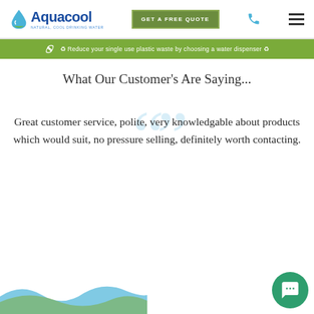Aquacool | GET A FREE QUOTE
Reduce your single use plastic waste by choosing a water dispenser
What Our Customer's Are Saying...
Great customer service, polite, very knowledgable about products which would suit, no pressure selling, definitely worth contacting.